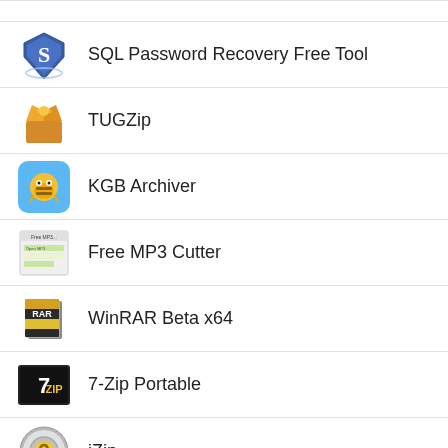SQL Password Recovery Free Tool
TUGZip
KGB Archiver
Free MP3 Cutter
WinRAR Beta x64
7-Zip Portable
jZip